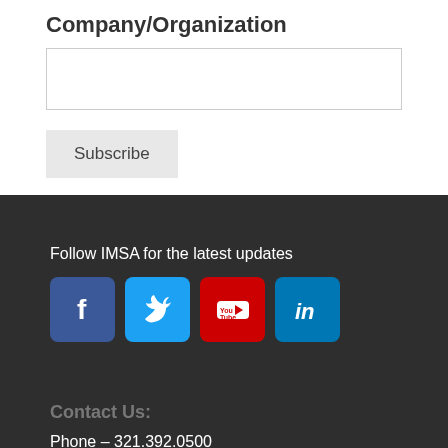Company/Organization
[text input field]
Subscribe
Follow IMSA for the latest updates
[Figure (other): Four social media icons: Facebook (blue), Twitter (light blue), YouTube (red), LinkedIn (blue)]
Contact Us:
Phone – 321.392.0500